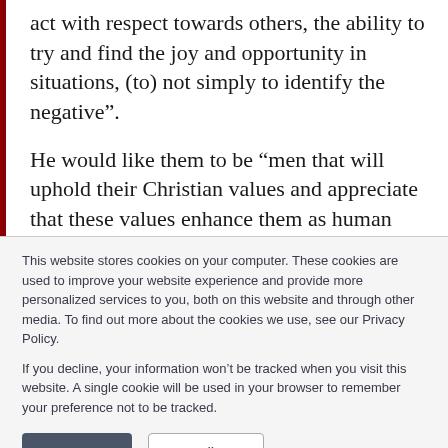act with respect towards others, the ability to try and find the joy and opportunity in situations, (to) not simply to identify the negative”.
He would like them to be “men that will uphold their Christian values and appreciate that these values enhance them as human beings, and draw people to themselves as a result of their beliefs and consequent actions”.
This website stores cookies on your computer. These cookies are used to improve your website experience and provide more personalized services to you, both on this website and through other media. To find out more about the cookies we use, see our Privacy Policy.

If you decline, your information won’t be tracked when you visit this website. A single cookie will be used in your browser to remember your preference not to be tracked.